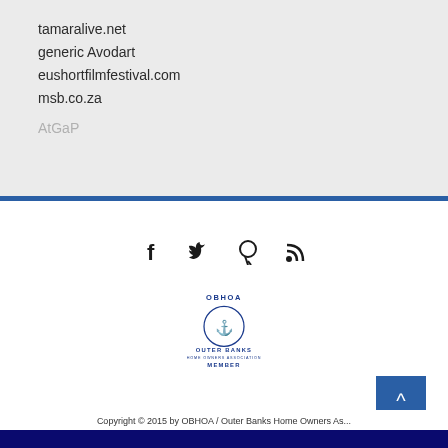tamaralive.net
generic Avodart
eushortfilmfestival.com
msb.co.za
AtGaP
[Figure (other): Social media icons: Facebook, Twitter, Pinterest, RSS feed]
[Figure (logo): OBHOA Outer Banks Home Owners Association Member logo]
Copyright © 2015 by OBHOA / Outer Banks Home Owners As...